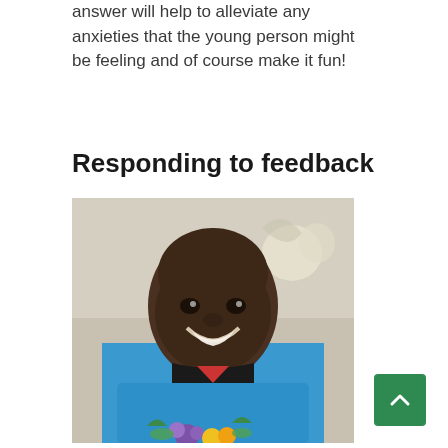answer will help to alleviate any anxieties that the young person might be feeling and of course make it fun!
Responding to feedback
[Figure (photo): A smiling young man wearing a blue apron, holding flowers with colorful artwork visible in the background.]